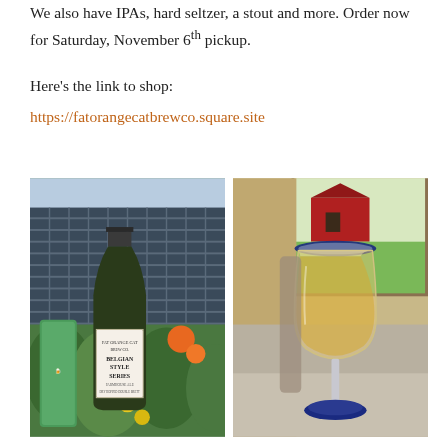We also have IPAs, hard seltzer, a stout and more. Order now for Saturday, November 6th pickup.
Here's the link to shop:
https://fatorangecatbrewco.square.site
[Figure (photo): Beer bottle labeled 'Belgian Style Series' in front of solar panels and orange flowers, with a colorful illustrated can]
[Figure (photo): A glass goblet with blue rim and blue base filled with golden/amber beer, set on a table with red barn visible through window in background]